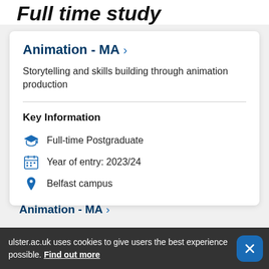Full time study
Animation - MA >
Storytelling and skills building through animation production
Key Information
Full-time Postgraduate
Year of entry: 2023/24
Belfast campus
ulster.ac.uk uses cookies to give users the best experience possible. Find out more